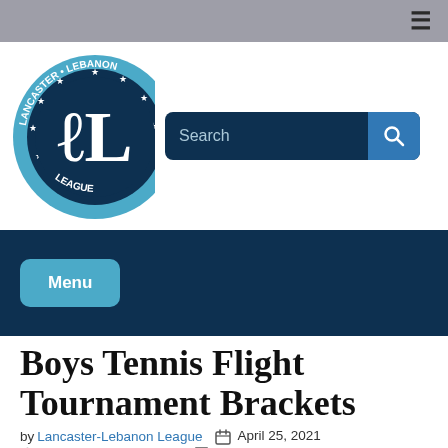[Figure (logo): Lancaster-Lebanon League circular logo with dark blue center showing 'LL' monogram, surrounded by stars and text on blue ring]
Boys Tennis Flight Tournament Brackets
by Lancaster-Lebanon League  April 25, 2021
07:22  Comments Off  News